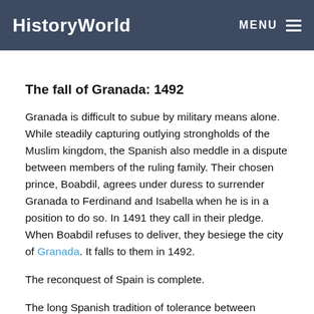HistoryWorld  MENU
The fall of Granada: 1492
Granada is difficult to subue by military means alone. While steadily capturing outlying strongholds of the Muslim kingdom, the Spanish also meddle in a dispute between members of the ruling family. Their chosen prince, Boabdil, agrees under duress to surrender Granada to Ferdinand and Isabella when he is in a position to do so. In 1491 they call in their pledge. When Boabdil refuses to deliver, they besiege the city of Granada. It falls to them in 1492.
The reconquest of Spain is complete.
The long Spanish tradition of tolerance between Muslim and Christian survives briefly after this final Christian victory. The Moors of Granada are at first allowed to...